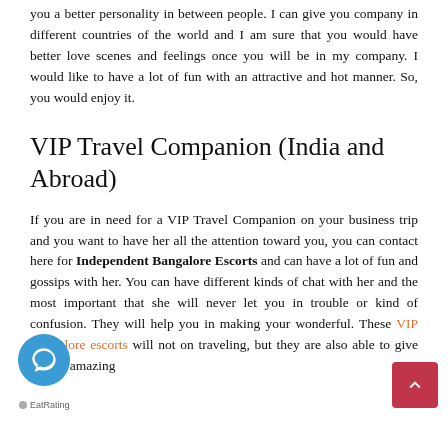you a better personality in between people. I can give you company in different countries of the world and I am sure that you would have better love scenes and feelings once you will be in my company. I would like to have a lot of fun with an attractive and hot manner. So, you would enjoy it.
VIP Travel Companion (India and Abroad)
If you are in need for a VIP Travel Companion on your business trip and you want to have her all the attention toward you, you can contact here for Independent Bangalore Escorts and can have a lot of fun and gossips with her. You can have different kinds of chat with her and the most important that she will never let you in trouble or kind of confusion. They will help you in making your wonderful. These VIP Bangalore escorts will not on traveling, but they are also able to give you an amazing